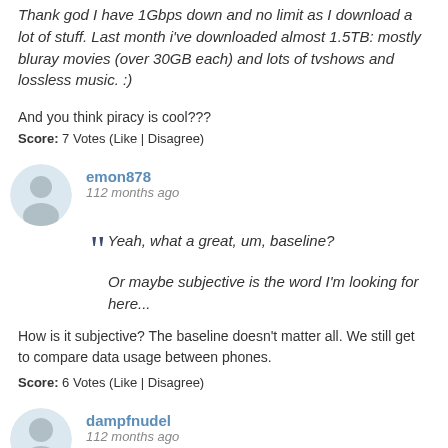Thank god I have 1Gbps down and no limit as I download a lot of stuff. Last month i've downloaded almost 1.5TB: mostly bluray movies (over 30GB each) and lots of tvshows and lossless music. :)
And you think piracy is cool???
Score: 7 Votes (Like | Disagree)
emon878
112 months ago
Yeah, what a great, um, baseline?
Or maybe subjective is the word I’m looking for here...
How is it subjective? The baseline doesn't matter all. We still get to compare data usage between phones.
Score: 6 Votes (Like | Disagree)
dampfnudel
112 months ago
You know what that means. Apple is sending your fingerprint data to NSA, every time you unlock...